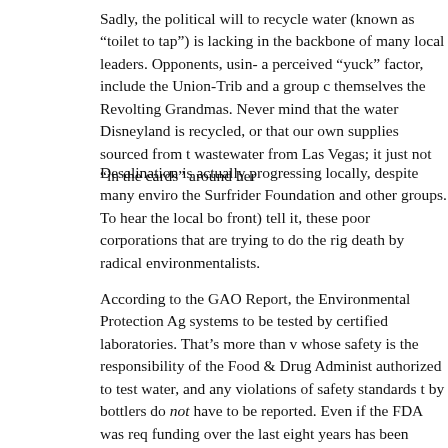Sadly, the political will to recycle water (known as “toilet to tap”) is lacking in the backbone of many local leaders. Opponents, using a perceived “yuck” factor, include the Union-Trib and a group calling themselves the Revolting Grandmas. Never mind that the water at Disneyland is recycled, or that our own supplies sourced from the wastewater from Las Vegas; it just not “in the cards” around here.
Desalination is actually progressing locally, despite many environmental the Surfrider Foundation and other groups. To hear the local boards (on front) tell it, these poor corporations that are trying to do the right thing death by radical environmentalists.
According to the GAO Report, the Environmental Protection Agency requires systems to be tested by certified laboratories. That’s more than we can say for bottled water, whose safety is the responsibility of the Food & Drug Administration. States are not authorized to test water, and any violations of safety standards that may be discovered by bottlers do not have to be reported. Even if the FDA was required to act, funding over the last eight years has been gutted to the extent as